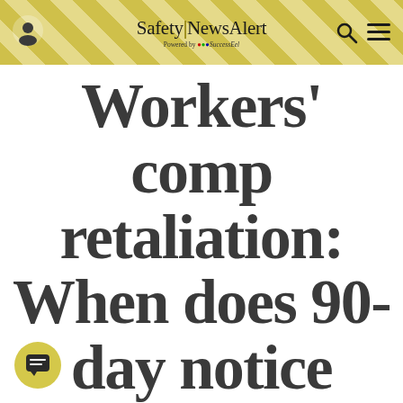Safety|NewsAlert — Powered by SuccessEel
Workers' comp retaliation: When does 90-day notice period start?